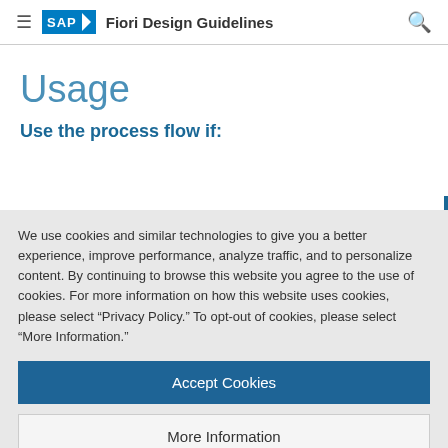SAP Fiori Design Guidelines
Usage
Use the process flow if:
We use cookies and similar technologies to give you a better experience, improve performance, analyze traffic, and to personalize content. By continuing to browse this website you agree to the use of cookies. For more information on how this website uses cookies, please select “Privacy Policy.” To opt-out of cookies, please select “More Information.”
Accept Cookies
More Information
Privacy Policy | Powered by: TrustArc
instead.